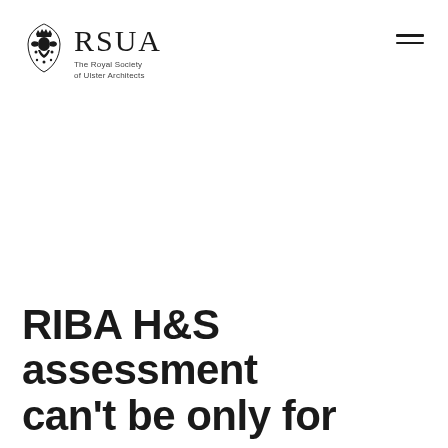RSUA The Royal Society of Ulster Architects
RIBA H&S assessment can't be only for